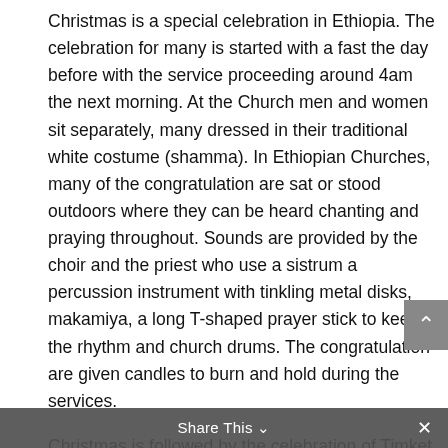Christmas is a special celebration in Ethiopia. The celebration for many is started with a fast the day before with the service proceeding around 4am the next morning. At the Church men and women sit separately, many dressed in their traditional white costume (shamma). In Ethiopian Churches, many of the congratulation are sat or stood outdoors where they can be heard chanting and praying throughout. Sounds are provided by the choir and the priest who use a sistrum a percussion instrument with tinkling metal disks, makamiya, a long T-shaped prayer stick to keep the rhythm and church drums. The congratulation are given candles to burn and hold during the services.
Christmas is followed by the celebration of Timket (Epiphany) on January 19, a three-day celebration commemorating the baptism of Christ,
Share This ∨  ✕